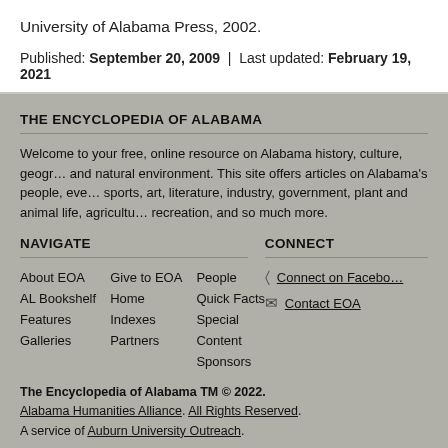University of Alabama Press, 2002.
Published: September 20, 2009  |  Last updated: February 19, 2021
THE ENCYCLOPEDIA OF ALABAMA
Welcome to your free, online resource on Alabama history, culture, geography, and natural environment. This site offers articles on Alabama's people, events, sports, art, literature, industry, government, plant and animal life, agriculture, recreation, and so much more.
NAVIGATE
About EOA
Give to EOA
People
AL Bookshelf
Home
Quick Facts
Features
Indexes
Special
Galleries
Partners
Content
Sponsors
CONNECT
Connect on Facebook
Contact EOA
The Encyclopedia of Alabama TM © 2022. Alabama Humanities Alliance. All Rights Reserved. A service of Auburn University Outreach.